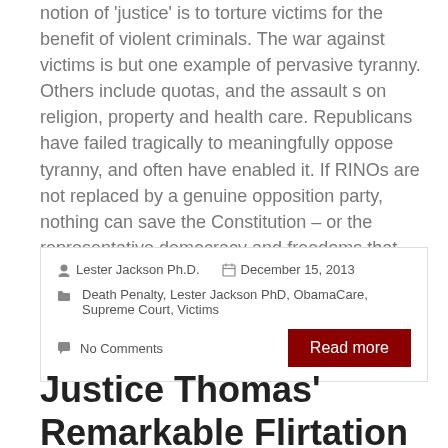notion of 'justice' is to torture victims for the benefit of violent criminals. The war against victims is but one example of pervasive tyranny. Others include quotas, and the assault s on religion, property and health care. Republicans have failed tragically to meaningfully oppose tyranny, and often have enabled it. If RINOs are not replaced by a genuine opposition party, nothing can save the Constitution – or the representative democracy and freedoms that are the heritage of this country.
Lester Jackson Ph.D.   December 15, 2013
Death Penalty, Lester Jackson PhD, ObamaCare, Supreme Court, Victims
No Comments
Justice Thomas' Remarkable Flirtation with Multiculturalism